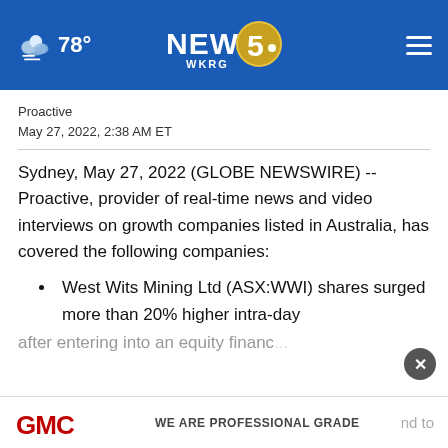NEWS 5 WKRG — 78°
Proactive
May 27, 2022, 2:38 AM ET
Sydney, May 27, 2022 (GLOBE NEWSWIRE) -- Proactive, provider of real-time news and video interviews on growth companies listed in Australia, has covered the following companies:
West Wits Mining Ltd (ASX:WWI) shares surged more than 20% higher intra-day after entering into an equity financ...
[Figure (logo): GMC advertisement banner — GMC logo with text 'WE ARE PROFESSIONAL GRADE']